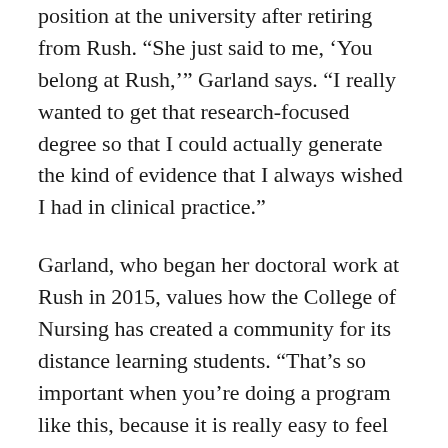position at the university after retiring from Rush. “She just said to me, ‘You belong at Rush,’” Garland says. “I really wanted to get that research-focused degree so that I could actually generate the kind of evidence that I always wished I had in clinical practice.”
Garland, who began her doctoral work at Rush in 2015, values how the College of Nursing has created a community for its distance learning students. “That’s so important when you’re doing a program like this, because it is really easy to feel like you’re the only PhD student in the world,” she says. She also appreciates the mentorship she has received from faculty. “That’s the kind of quality of education you get at Rush,” Garland says. “You get